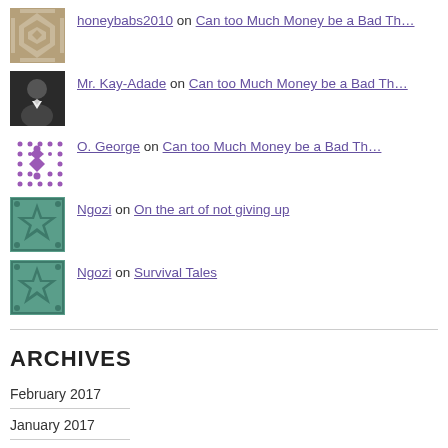honeybabs2010 on Can too Much Money be a Bad Th…
Mr. Kay-Adade on Can too Much Money be a Bad Th…
O. George on Can too Much Money be a Bad Th…
Ngozi on On the art of not giving up
Ngozi on Survival Tales
ARCHIVES
February 2017
January 2017